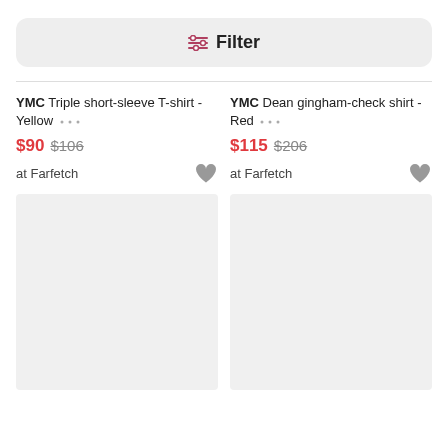[Figure (screenshot): Filter button with sliders icon]
YMC Triple short-sleeve T-shirt - Yellow ... $90 $106 at Farfetch
YMC Dean gingham-check shirt - Red ... $115 $206 at Farfetch
[Figure (photo): Empty product image placeholder left]
[Figure (photo): Empty product image placeholder right]